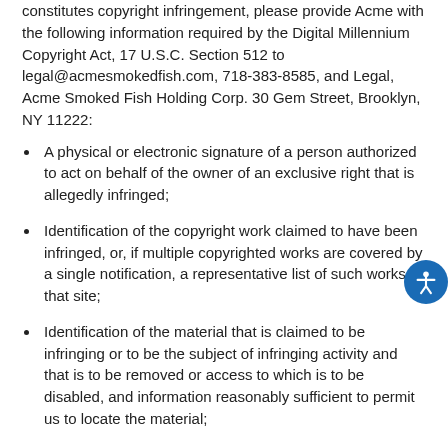constitutes copyright infringement, please provide Acme with the following information required by the Digital Millennium Copyright Act, 17 U.S.C. Section 512 to legal@acmesmokedfish.com, 718-383-8585, and Legal, Acme Smoked Fish Holding Corp. 30 Gem Street, Brooklyn, NY 11222:
A physical or electronic signature of a person authorized to act on behalf of the owner of an exclusive right that is allegedly infringed;
Identification of the copyright work claimed to have been infringed, or, if multiple copyrighted works are covered by a single notification, a representative list of such works at that site;
Identification of the material that is claimed to be infringing or to be the subject of infringing activity and that is to be removed or access to which is to be disabled, and information reasonably sufficient to permit us to locate the material;
Information reasonably sufficient to permit us to contact the complaining party;
A statement that the complaining party has a good faith